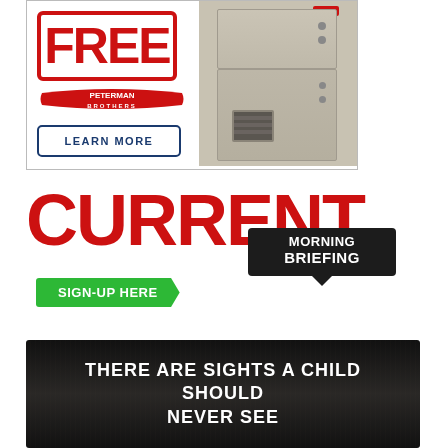[Figure (illustration): Peterman Brothers HVAC advertisement showing FREE stamp in red, Bryant furnace unit on right side, Peterman Brothers logo, and LEARN MORE button]
[Figure (logo): Current Morning Briefing logo in large red bold text with green SIGN-UP HERE chevron button and black Morning Briefing speech bubble badge]
[Figure (illustration): Dark background advertisement with white text reading THERE ARE SIGHTS A CHILD SHOULD NEVER SEE, dark wood-grain texture background]